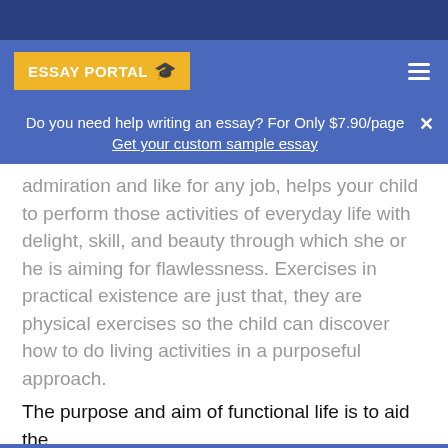[Figure (logo): Essay Portal logo with graduation cap on yellow background]
Do you need help writing an essay? For Only $7.90/page Get your custom sample essay
admiration and like for any job, helps your child to perform those activities of everyday life with delight, skill, and beauty through which she or he is aiming for flawlessness. Exercises in practical existence are just that, they are physical exercises so the child can discover how to do living activities in a purposeful approach.
The purpose and aim of functional life is to aid the child...
We use cookies to make our service more convenient for you. By continuing we'll assume you're on board with our cook...
therefore what the... convenient, unique... Accept Cookies